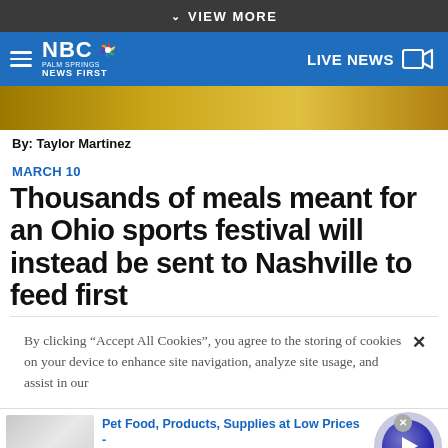VIEW MORE
[Figure (screenshot): NBC Palm Springs News First header with logo on blue background and LIVE NEWS button on the right]
[Figure (photo): Partial hero image with golden/yellow tones, likely sports or festival related]
By: Taylor Martinez
MARCH 10
Thousands of meals meant for an Ohio sports festival will instead be sent to Nashville to feed first
By clicking “Accept All Cookies”, you agree to the storing of cookies on your device to enhance site navigation, analyze site usage, and assist in our
[Figure (screenshot): Advertisement banner for Pet Food, Products, Supplies at Low Prices - Chewy.com with play button]